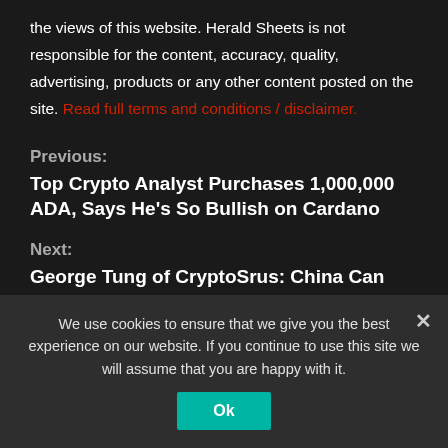the views of this website. Herald Sheets is not responsible for the content, accuracy, quality, advertising, products or any other content posted on the site. Read full terms and conditions / disclaimer.
Previous:
Top Crypto Analyst Purchases 1,000,000 ADA, Says He's So Bullish on Cardano
Next:
George Tung of CryptoSrus: China Can Make VeChain (VET) Dethrone Ethereum (ETH)
We use cookies to ensure that we give you the best experience on our website. If you continue to use this site we will assume that you are happy with it.